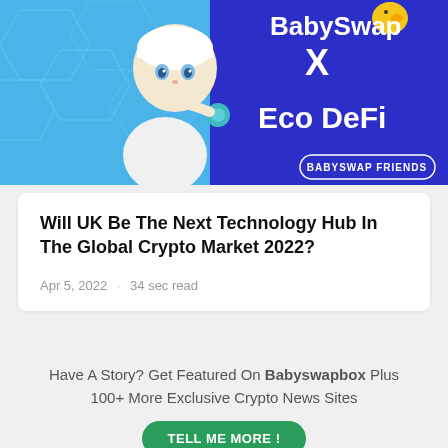[Figure (illustration): BabySwap X Eco DeFi promotional banner with a 3D baby character holding a crypto token, blue geometric background on left, dark blue right side with white text reading BabySwap X Eco DeFi, and BABYSWAP FRIENDS badge at bottom right]
Will UK Be The Next Technology Hub In The Global Crypto Market 2022?
Apr 5, 2022 · 34 sec read
Have A Story? Get Featured On Babyswapbox Plus 100+ More Exclusive Crypto News Sites
TELL ME MORE !